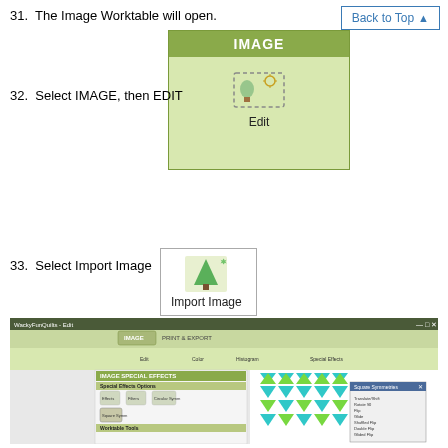31.  The Image Worktable will open.
[Figure (screenshot): Button labeled 'Back to Top' with upward triangle arrow]
[Figure (screenshot): IMAGE panel showing header 'IMAGE' in olive green and body with Edit icon and 'Edit' label on green background]
32.  Select IMAGE, then EDIT
33.  Select Import Image
[Figure (screenshot): Import Image button with tree/landscape icon]
[Figure (screenshot): Screenshot of software application showing IMAGE SPECIAL EFFECTS panel with Square Symmetries option selected, and a quilt design with teal/green triangles displayed]